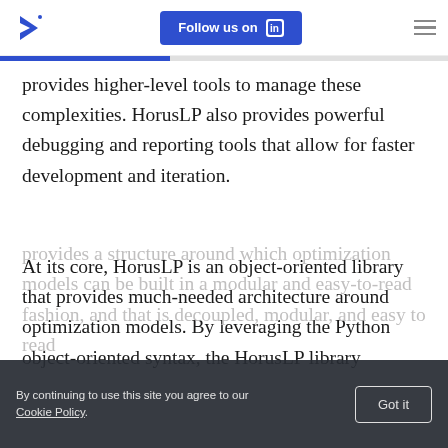Follow us on LinkedIn
provides higher-level tools to manage these complexities. HorusLP also provides powerful debugging and reporting tools that allow for faster development and iteration.
At its core, HorusLP is an object-oriented library that provides much-needed architecture around optimization models. By leveraging the Python object-oriented syntax, the HorusLP library
By continuing to use this site you agree to our Cookie Policy. Got it